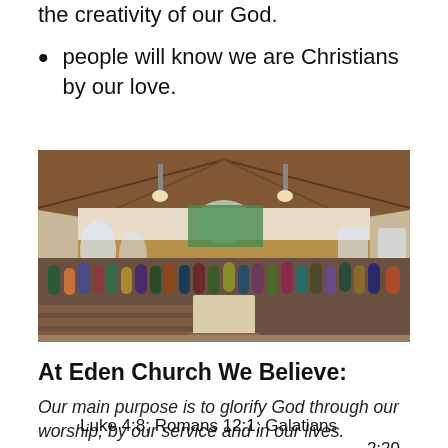the creativity of our God.
people will know we are Christians by our love.
[Figure (photo): Interior of Eden Church sanctuary filled with congregation members standing, with wood-paneled ceiling, arched windows, pews, and a balcony visible at the back]
At Eden Church We Believe:
Our main purpose is to glorify God through our worship, by our service and in our lives.
Luke 4:8; Romans 12:1; Galatians 2:20